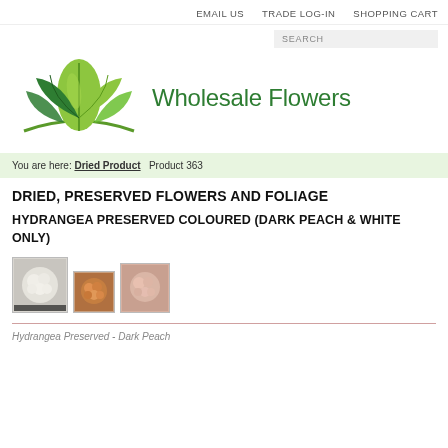EMAIL US   TRADE LOG-IN   SHOPPING CART
[Figure (logo): Wholesale Flowers green lotus leaf logo with text 'Wholesale Flowers']
You are here: Dried Product   Product 363
DRIED, PRESERVED FLOWERS AND FOLIAGE
HYDRANGEA PRESERVED COLOURED (DARK PEACH & WHITE ONLY)
[Figure (photo): Three thumbnail images of preserved hydrangea flowers: white/cream, orange/rust, and peach colored]
Hydrangea Preserved - Dark Peach